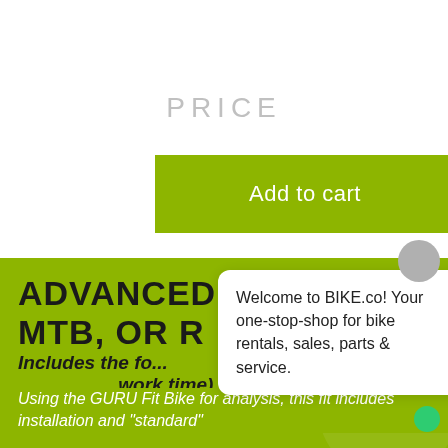PRICE
Add to cart
ADVANCED... MTB, OR R...
Includes the fo... work time)
Using the GURU Fit Bike for analysis, this fit includes installation and "standard"
Welcome to BIKE.co! Your one-stop-shop for bike rentals, sales, parts & service.